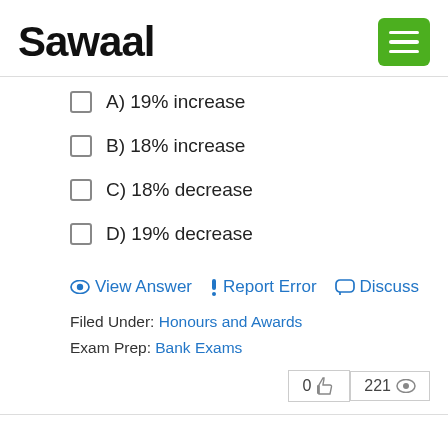Sawaal
A) 19% increase
B) 18% increase
C) 18% decrease
D) 19% decrease
View Answer   ! Report Error   Discuss
Filed Under: Honours and Awards
Exam Prep: Bank Exams
0  221